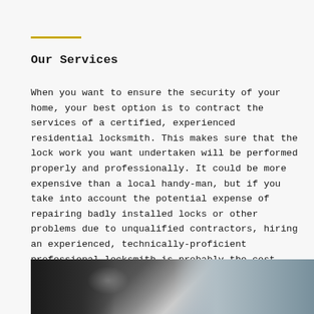Our Services
When you want to ensure the security of your home, your best option is to contract the services of a certified, experienced residential locksmith. This makes sure that the lock work you want undertaken will be performed properly and professionally. It could be more expensive than a local handy-man, but if you take into account the potential expense of repairing badly installed locks or other problems due to unqualified contractors, hiring an experienced, technically-proficient professional locksmith is probably the cost-effective decision.
[Figure (photo): Close-up photo of a car door/window area, showing dark automotive bodywork and glass, with blurred background.]